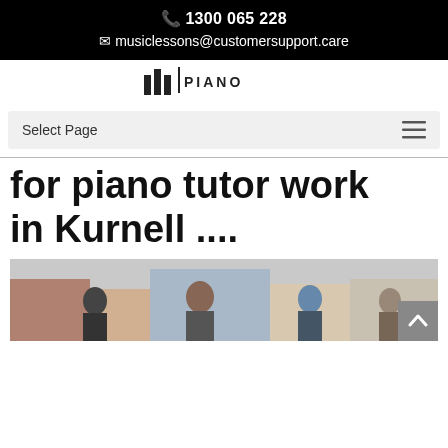📞 1300 065 228
✉ musiclessons@customersupport.care
[Figure (logo): Music lessons piano logo with vertical bars and PIANO text]
Select Page
for piano tutor work in Kurnell ....
[Figure (photo): Group photo of people outdoors]